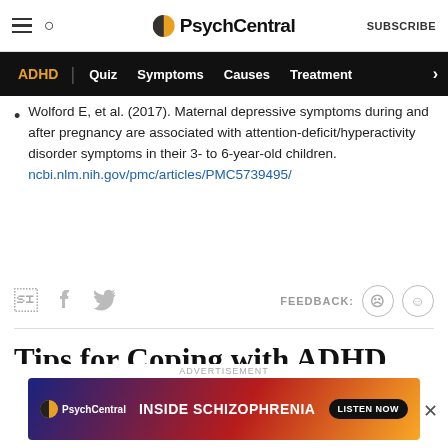PsychCentral | SUBSCRIBE
ADHD | Quiz | Symptoms | Causes | Treatment
Wolford E, et al. (2017). Maternal depressive symptoms during and after pregnancy are associated with attention-deficit/hyperactivity disorder symptoms in their 3- to 6-year-old children. ncbi.nlm.nih.gov/pmc/articles/PMC5739495/
FEEDBACK:
Tips for Coping with ADHD
[Figure (screenshot): PsychCentral advertisement banner: INSIDE SCHIZOPHRENIA - LISTEN NOW]